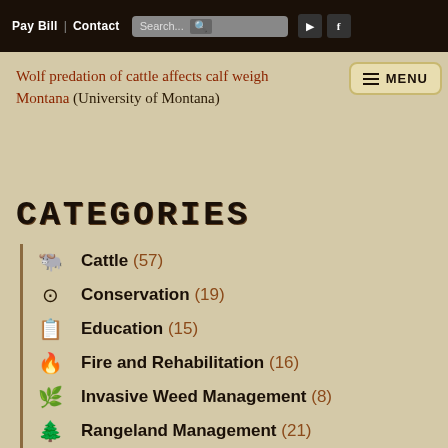Pay Bill | Contact Search... [search icon] [video icon] [facebook icon]
Wolf predation of cattle affects calf weigh... Montana (University of Montana)
CATEGORIES
Cattle (57)
Conservation (19)
Education (15)
Fire and Rehabilitation (16)
Invasive Weed Management (8)
Rangeland Management (21)
Recreation (6)